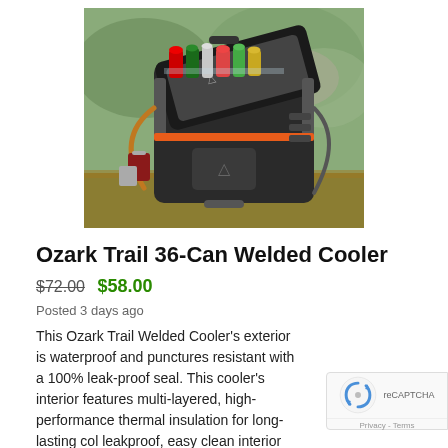[Figure (photo): Ozark Trail 36-Can Welded Cooler product photo — black soft-sided cooler bag with orange zipper accent, shoulder strap, and Ozark Trail logo, shown open with beverages inside, outdoors on a wooden surface]
Ozark Trail 36-Can Welded Cooler
$72.00 $58.00
Posted 3 days ago
This Ozark Trail Welded Cooler's exterior is waterproof and punctures resistant with a 100% leak-proof seal. This cooler's interior features multi-layered, high-performance thermal insulation for long-lasting col leakproof, easy clean interior lining, and a removab hard liner with built-in Microban® antimicrobial